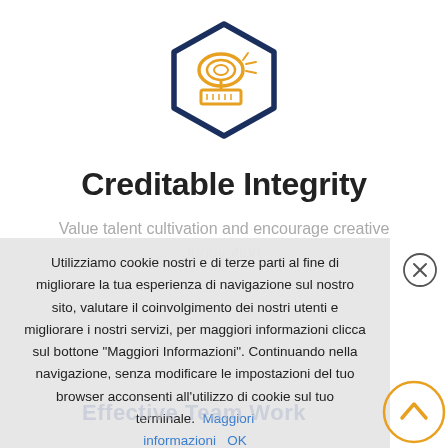[Figure (illustration): Dark navy hexagon outline containing a golden/yellow illustration of a stamp or seal with rings and a rectangular base, representing creditable integrity icon]
Creditable Integrity
Value talent cultivation and encourage creative innovation
Utilizziamo cookie nostri e di terze parti al fine di migliorare la tua esperienza di navigazione sul nostro sito, valutare il coinvolgimento dei nostri utenti e migliorare i nostri servizi, per maggiori informazioni clicca sul bottone "Maggiori Informazioni". Continuando nella navigazione, senza modificare le impostazioni del tuo browser acconsenti all'utilizzo di cookie sul tuo terminale. Maggiori informazioni OK
Effective Team Work